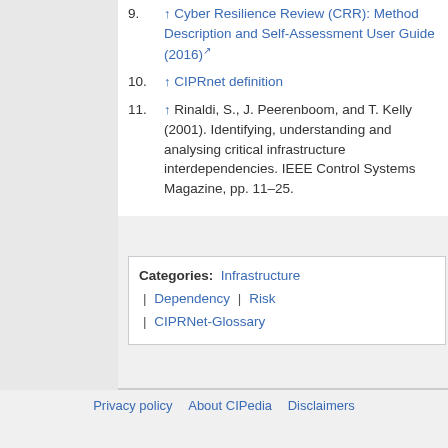9. ↑ Cyber Resilience Review (CRR): Method Description and Self-Assessment User Guide (2016)
10. ↑ CIPRnet definition
11. ↑ Rinaldi, S., J. Peerenboom, and T. Kelly (2001). Identifying, understanding and analysing critical infrastructure interdependencies. IEEE Control Systems Magazine, pp. 11–25.
Categories: Infrastructure | Dependency | Risk | CIPRNet-Glossary
Privacy policy   About CIPedia   Disclaimers